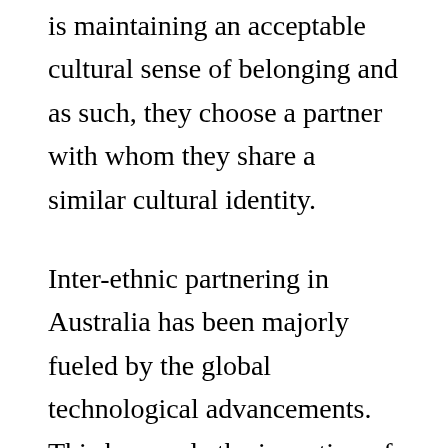is maintaining an acceptable cultural sense of belonging and as such, they choose a partner with whom they share a similar cultural identity.
Inter-ethnic partnering in Australia has been majorly fueled by the global technological advancements. This has made the inception of interracial dating sites possible. People are now incorporating both technological and native techniques in the quest of searching for a partner. These dating sites provide an array